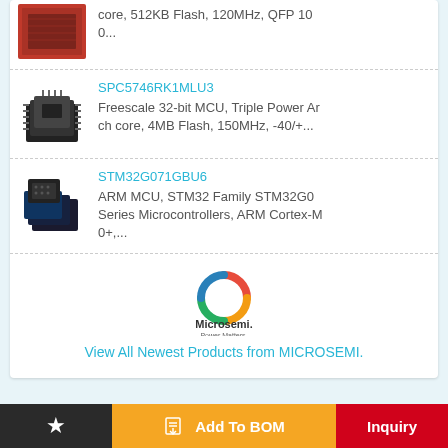[Figure (photo): Red circuit board / chip product image (partially visible at top)]
core, 512KB Flash, 120MHz, QFP 10 0...
[Figure (photo): Black QFP chip package - SPC5746RK1MLU3]
SPC5746RK1MLU3
Freescale 32-bit MCU, Triple Power Arch core, 4MB Flash, 150MHz, -40/+...
[Figure (photo): Black MCU chip package - STM32G071GBU6]
STM32G071GBU6
ARM MCU, STM32 Family STM32G0 Series Microcontrollers, ARM Cortex-M0+,...
[Figure (logo): Microsemi logo with tagline Power Matters.]
View All Newest Products from MICROSEMI.